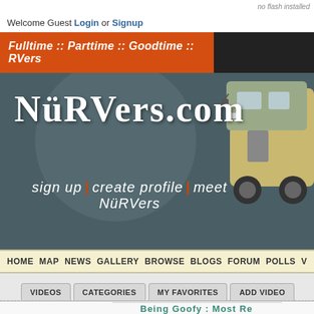no flash installed
Welcome Guest Login or Signup
Fulltime :: Parttime :: Goodtime :: RVers
[Figure (illustration): NüRVers.com website header with large stylized logo text 'NüRVers.com', tagline 'sign up | create profile | meet NüRVers', an illustrated RV on the right, and a circular background element. Dark teal/grey background.]
HOME  MAP  NEWS  GALLERY  BROWSE  BLOGS  FORUM  POLLS  V...
VIDEOS   CATEGORIES   MY FAVORITES   ADD VIDEO
Being Goofy : Most Re